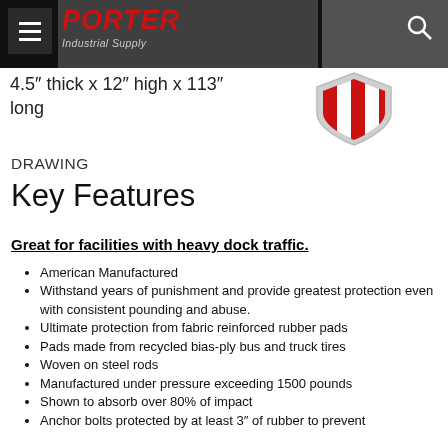Porter Industrial Supply — navigation header
4.5″ thick x 12″ high x 113″ long
[Figure (logo): Red and white shield/badge logo for Porter Industrial Supply]
DRAWING
Key Features
Great for facilities with heavy dock traffic.
American Manufactured
Withstand years of punishment and provide greatest protection even with consistent pounding and abuse.
Ultimate protection from fabric reinforced rubber pads
Pads made from recycled bias-ply bus and truck tires
Woven on steel rods
Manufactured under pressure exceeding 1500 pounds
Shown to absorb over 80% of impact
Anchor bolts protected by at least 3″ of rubber to prevent